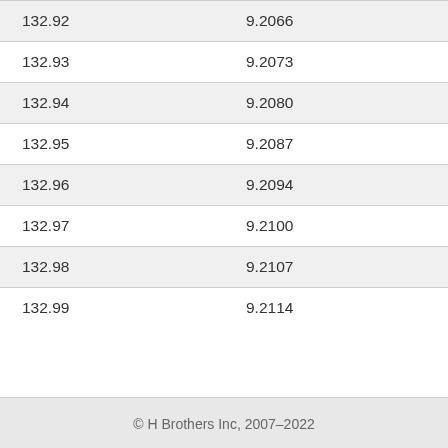| 132.92 | 9.2066 |
| 132.93 | 9.2073 |
| 132.94 | 9.2080 |
| 132.95 | 9.2087 |
| 132.96 | 9.2094 |
| 132.97 | 9.2100 |
| 132.98 | 9.2107 |
| 132.99 | 9.2114 |
© H Brothers Inc, 2007–2022